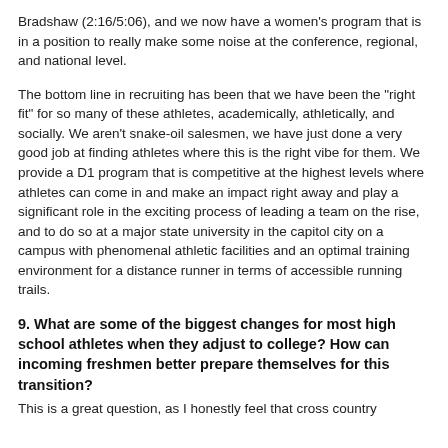Bradshaw (2:16/5:06), and we now have a women's program that is in a position to really make some noise at the conference, regional, and national level.
The bottom line in recruiting has been that we have been the "right fit" for so many of these athletes, academically, athletically, and socially. We aren't snake-oil salesmen, we have just done a very good job at finding athletes where this is the right vibe for them. We provide a D1 program that is competitive at the highest levels where athletes can come in and make an impact right away and play a significant role in the exciting process of leading a team on the rise, and to do so at a major state university in the capitol city on a campus with phenomenal athletic facilities and an optimal training environment for a distance runner in terms of accessible running trails.
9. What are some of the biggest changes for most high school athletes when they adjust to college? How can incoming freshmen better prepare themselves for this transition?
This is a great question, as I honestly feel that cross country